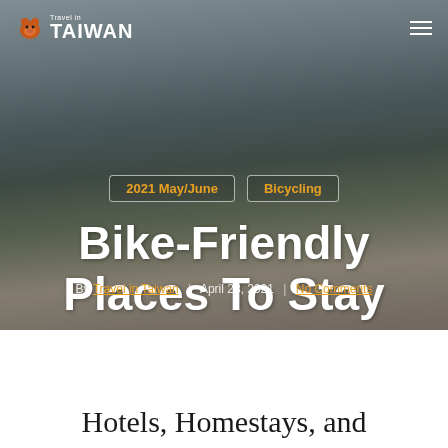Travel in Taiwan
2021 May/June
Bicycling
Bike-Friendly Places To Stay
By Travel in Taiwan | April 28, 2021 | No Comments
Hotels, Homestays, and